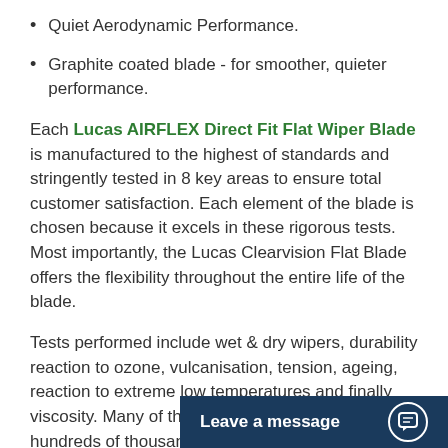Quiet Aerodynamic Performance.
Graphite coated blade - for smoother, quieter performance.
Each Lucas AIRFLEX Direct Fit Flat Wiper Blade is manufactured to the highest of standards and stringently tested in 8 key areas to ensure total customer satisfaction. Each element of the blade is chosen because it excels in these rigorous tests. Most importantly, the Lucas Clearvision Flat Blade offers the flexibility throughout the entire life of the blade.
Tests performed include wet & dry wipers, durability reaction to ozone, vulcanisation, tension, ageing, reaction to extreme low temperatures and finally viscosity. Many of these tests are repeated over hundreds of thousands of cycles at temperatures ranging from -50c to [obscured] ensure that each bla[de...]